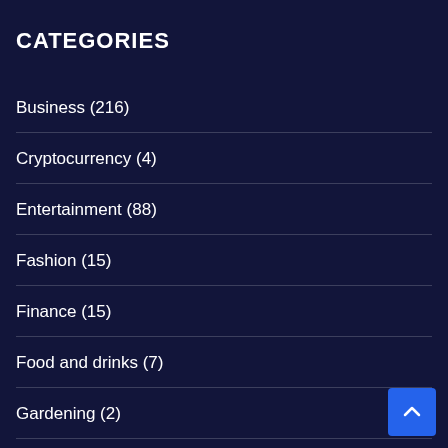CATEGORIES
Business (216)
Cryptocurrency (4)
Entertainment (88)
Fashion (15)
Finance (15)
Food and drinks (7)
Gardening (2)